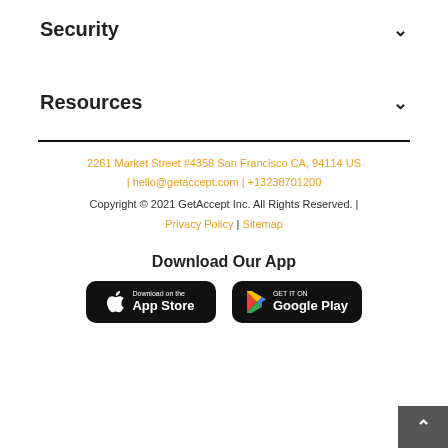Security
Resources
2261 Market Street #4358 San Francisco CA, 94114 US | hello@getaccept.com | +13238701200
Copyright © 2021 GetAccept Inc. All Rights Reserved. | Privacy Policy | Sitemap
Download Our App
[Figure (other): App Store and Google Play download buttons]